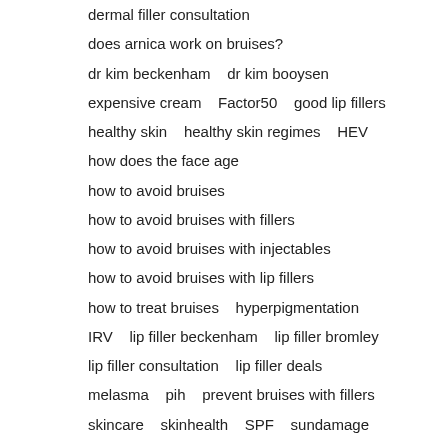dermal filler consultation
does arnica work on bruises?
dr kim beckenham   dr kim booysen
expensive cream   Factor50   good lip fillers
healthy skin   healthy skin regimes   HEV
how does the face age
how to avoid bruises
how to avoid bruises with fillers
how to avoid bruises with injectables
how to avoid bruises with lip fillers
how to treat bruises   hyperpigmentation
IRV   lip filler beckenham   lip filler bromley
lip filler consultation   lip filler deals
melasma   pih   prevent bruises with fillers
skincare   skinhealth   SPF   sundamage